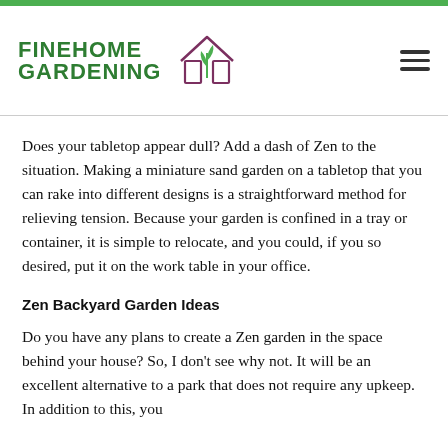FINEHOME GARDENING
Does your tabletop appear dull? Add a dash of Zen to the situation. Making a miniature sand garden on a tabletop that you can rake into different designs is a straightforward method for relieving tension. Because your garden is confined in a tray or container, it is simple to relocate, and you could, if you so desired, put it on the work table in your office.
Zen Backyard Garden Ideas
Do you have any plans to create a Zen garden in the space behind your house? So, I don't see why not. It will be an excellent alternative to a park that does not require any upkeep. In addition to this, you